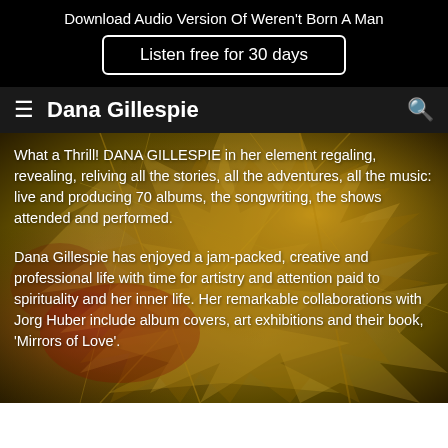Download Audio Version Of Weren't Born A Man
Listen free for 30 days
Dana Gillespie
What a Thrill! DANA GILLESPIE in her element regaling, revealing, reliving all the stories, all the adventures, all the music: live and producing 70 albums, the songwriting, the shows attended and performed.
Dana Gillespie has enjoyed a jam-packed, creative and professional life with time for artistry and attention paid to spirituality and her inner life. Her remarkable collaborations with Jorg Huber include album covers, art exhibitions and their book, 'Mirrors of Love'.